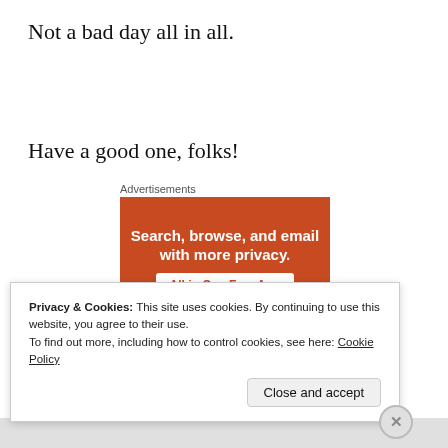Not a bad day all in all.
Have a good one, folks!
Advertisements
[Figure (other): Orange advertisement banner: 'Search, browse, and email with more privacy. All in One Free App']
Privacy & Cookies: This site uses cookies. By continuing to use this website, you agree to their use.
To find out more, including how to control cookies, see here: Cookie Policy
Close and accept